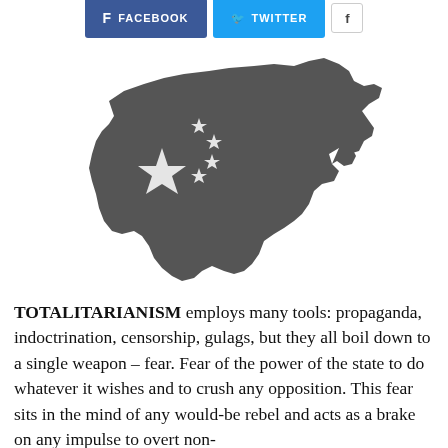FACEBOOK  TWITTER
[Figure (map): Silhouette map of China in dark grey with Chinese flag stars (one large star and four smaller stars) overlaid on the map shape.]
TOTALITARIANISM employs many tools: propaganda, indoctrination, censorship, gulags, but they all boil down to a single weapon – fear. Fear of the power of the state to do whatever it wishes and to crush any opposition. This fear sits in the mind of any would-be rebel and acts as a brake on any impulse to overt non-